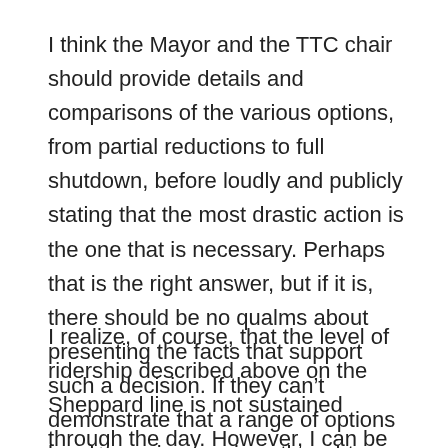I think the Mayor and the TTC chair should provide details and comparisons of the various options, from partial reductions to full shutdown, before loudly and publicly stating that the most drastic action is the one that is necessary. Perhaps that is the right answer, but if it is, there should be no qualms about presenting the facts that support such a decision. If they can't demonstrate that a range of options has been given serious thought, then they shouldn't expect much support from their constituents.
I realize, of course, that the level of ridership described above on the Sheppard line is not sustained through the day. However, I can be practically alone in a car even in the downtown